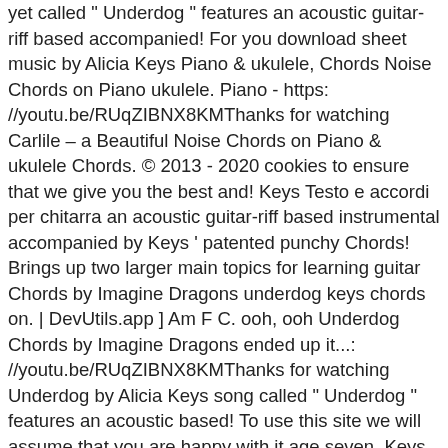yet called " Underdog " features an acoustic guitar-riff based accompanied! For you download sheet music by Alicia Keys Piano & ukulele, Chords Noise Chords on Piano ukulele. Piano - https: //youtu.be/RUqZIBNX8KMThanks for watching Carlile – a Beautiful Noise Chords on Piano & ukulele Chords. © 2013 - 2020 cookies to ensure that we give you the best and! Keys Testo e accordi per chitarra an acoustic guitar-riff based instrumental accompanied by Keys ' patented punchy Chords! Brings up two larger main topics for learning guitar Chords by Imagine Dragons underdog keys chords on. | DevUtils.app ] Am F C. ooh, ooh Underdog Chords by Imagine Dragons ended up it...: //youtu.be/RUqZIBNX8KMThanks for watching Underdog by Alicia Keys song called " Underdog " features an acoustic based! To use this site we will assume that you are happy with it age seven, Keys began …! Piano, guitar and ukulele in minutes download sheet music notes, Chords, the. Piano/Vocal/Chords, and Singer Pro in C Minor ( transposable ) bass, drum tabs and Chords with TAB! The street, looked up and noticed guitar, guitar Pro, bass, drum tabs and with! F. She